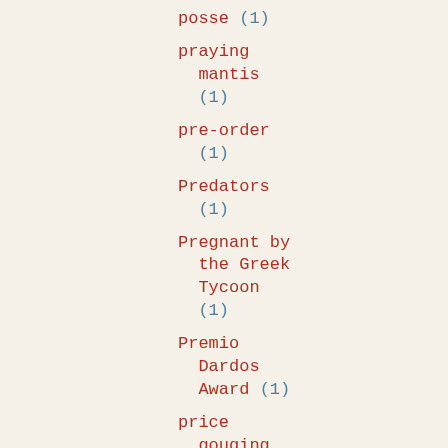posse (1)
praying mantis (1)
pre-order (1)
Predators (1)
Pregnant by the Greek Tycoon (1)
Premio Dardos Award (1)
price gouging (1)